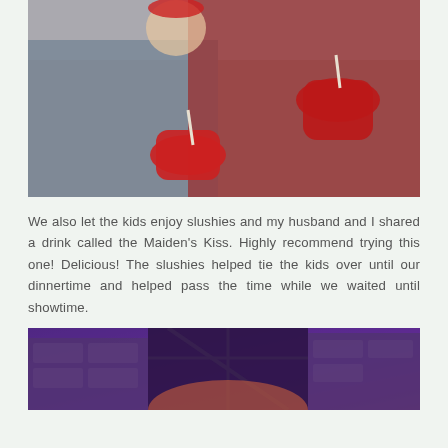[Figure (photo): Two children smiling and holding red slushie cups with straws. One child wears a red hat and red patterned dress, the other wears a denim jacket. They appear to be hugging.]
We also let the kids enjoy slushies and my husband and I shared a drink called the Maiden's Kiss. Highly recommend trying this one! Delicious! The slushies helped tie the kids over until our dinnertime and helped pass the time while we waited until showtime.
[Figure (photo): A nighttime or indoor entertainment show venue with purple and orange lighting illuminating stone-like castle architecture with decorative ironwork scaffolding and fire effects.]